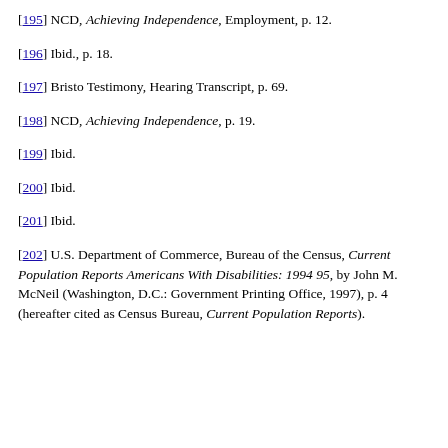[195] NCD, Achieving Independence, Employment, p. 12.
[196] Ibid., p. 18.
[197] Bristo Testimony, Hearing Transcript, p. 69.
[198] NCD, Achieving Independence, p. 19.
[199] Ibid.
[200] Ibid.
[201] Ibid.
[202] U.S. Department of Commerce, Bureau of the Census, Current Population Reports Americans With Disabilities: 1994 95, by John M. McNeil (Washington, D.C.: Government Printing Office, 1997), p. 4 (hereafter cited as Census Bureau, Current Population Reports).